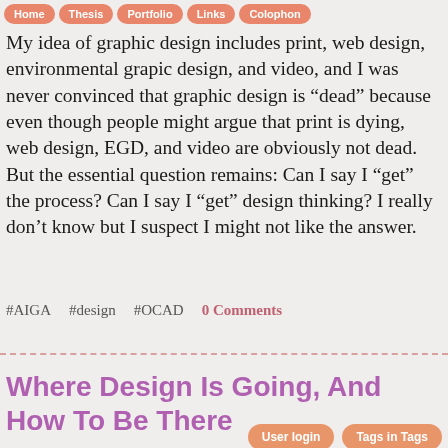Home | Thesis | Portfolio | Links | Colophon
My idea of graphic design includes print, web design, environmental grapic design, and video, and I was never convinced that graphic design is “dead” because even though people might argue that print is dying, web design, EGD, and video are obviously not dead. But the essential question remains: Can I say I “get” the process? Can I say I “get” design thinking? I really don’t know but I suspect I might not like the answer.
#AIGA   #design   #OCAD   0 Comments
Where Design Is Going, And How To Be There